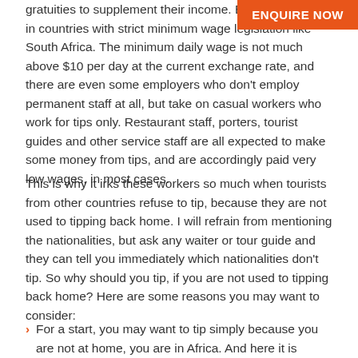gratuities to supplement their income. Being poor, even in countries with strict minimum wage legislation like South Africa. The minimum daily wage is not much above $10 per day at the current exchange rate, and there are even some employers who don't employ permanent staff at all, but take on casual workers who work for tips only. Restaurant staff, porters, tourist guides and other service staff are all expected to make some money from tips, and are accordingly paid very low wages, in most cases.
This is why it irks these workers so much when tourists from other countries refuse to tip, because they are not used to tipping back home. I will refrain from mentioning the nationalities, but ask any waiter or tour guide and they can tell you immediately which nationalities don't tip. So why should you tip, if you are not used to tipping back home? Here are some reasons you may want to consider:
For a start, you may want to tip simply because you are not at home, you are in Africa. And here it is customary...